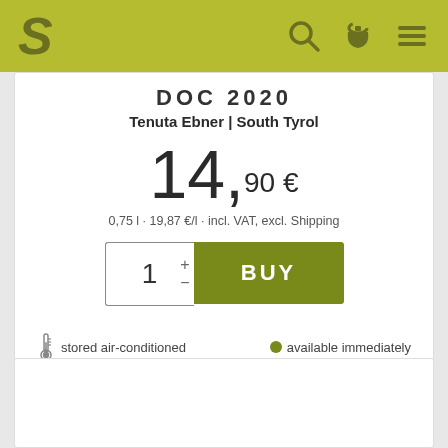S [logo] [search] [cart] [menu]
DOC 2020
Tenuta Ebner | South Tyrol
14,90 €
0,75 l · 19,87 €/l · incl. VAT, excl. Shipping
1 + - BUY
stored air-conditioned
available immediately